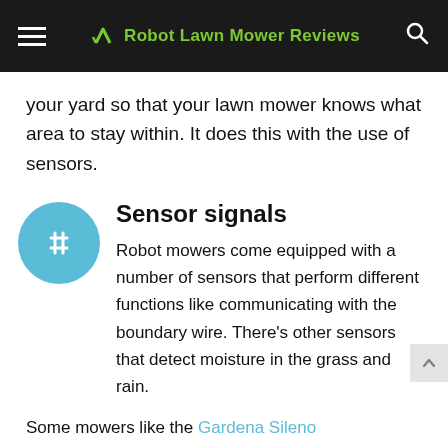Robot Lawn Mower Reviews
your yard so that your lawn mower knows what area to stay within. It does this with the use of sensors.
Sensor signals
Robot mowers come equipped with a number of sensors that perform different functions like communicating with the boundary wire. There’s other sensors that detect moisture in the grass and rain.
Some mowers like the Gardena Sileno